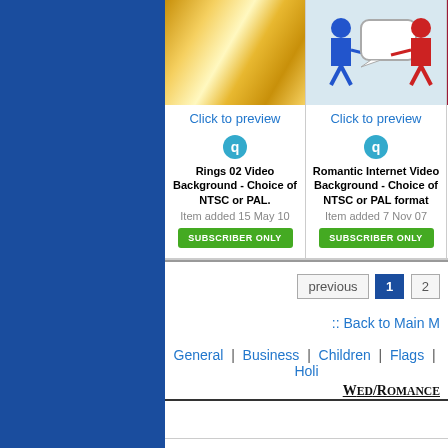[Figure (other): Left blue sidebar navigation panel]
[Figure (photo): Thumbnail of golden rings for Rings 02 Video Background]
Click to preview
Rings 02 Video Background - Choice of NTSC or PAL.
Item added 15 May 10
SUBSCRIBER ONLY
[Figure (illustration): Thumbnail of two people talking with speech bubble for Romantic Internet Video Background]
Click to preview
Romantic Internet Video Background - Choice of NTSC or PAL format
Item added 7 Nov 07
SUBSCRIBER ONLY
[Figure (photo): Partial thumbnail of third item with dark red/maroon background]
previous  1  2
:: Back to Main M
General  |  Business  |  Children  |  Flags  |  Holi
Wed/Romance